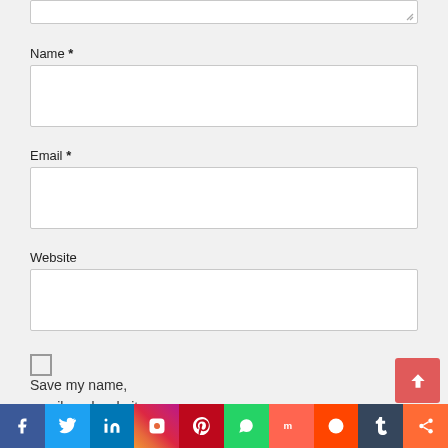[Figure (screenshot): Partially visible textarea with resize handle at top of page]
Name *
[Figure (screenshot): Empty text input field for Name]
Email *
[Figure (screenshot): Empty text input field for Email]
Website
[Figure (screenshot): Empty text input field for Website]
Save my name, email, and website in this browser for the next time I
[Figure (screenshot): Social sharing bar with Facebook, Twitter, LinkedIn, Instagram, Pinterest, WhatsApp, Mix, Reddit, Tumblr, Share buttons]